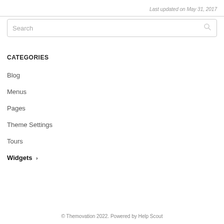Last updated on May 31, 2017
Search
CATEGORIES
Blog
Menus
Pages
Theme Settings
Tours
Widgets ›
© Themovation 2022. Powered by Help Scout